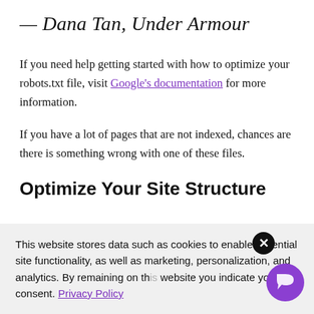— Dana Tan, Under Armour
If you need help getting started with how to optimize your robots.txt file, visit Google's documentation for more information.
If you have a lot of pages that are not indexed, chances are there is something wrong with one of these files.
Optimize Your Site Structure
This website stores data such as cookies to enable essential site functionality, as well as marketing, personalization, and analytics. By remaining on this website you indicate your consent. Privacy Policy